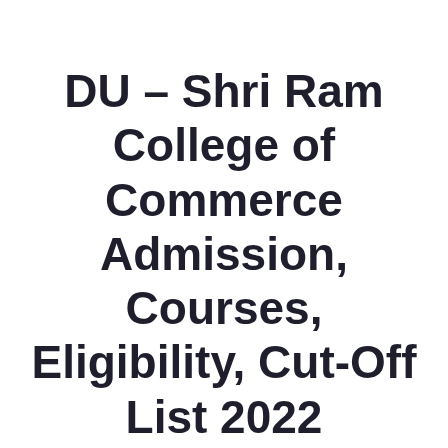DU – Shri Ram College of Commerce Admission, Courses, Eligibility, Cut-Off List 2022